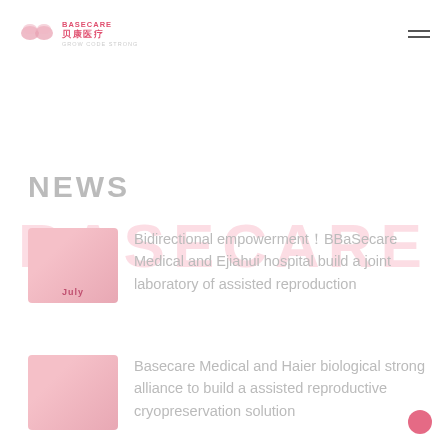BASECARE 贝康医疗 GROW CODE STRONG
NEWS
[Figure (photo): Thumbnail image placeholder for news item 1, pink/rose gradient]
Bidirectional empowerment！BBaSecare Medical and Ejiahui hospital build a joint laboratory of assisted reproduction
[Figure (photo): Thumbnail image placeholder for news item 2, pink/rose gradient]
Basecare Medical and Haier biological strong alliance to build a assisted reproductive cryopreservation solution